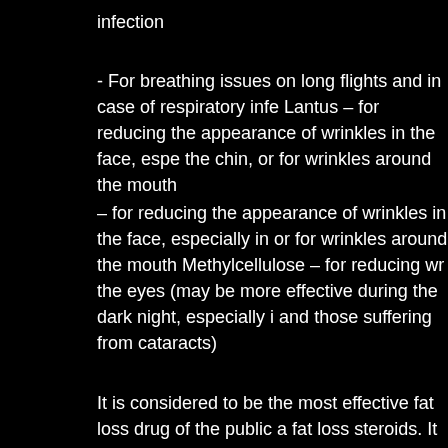infection
- For breathing issues on long flights and in case of respiratory infe Lantus – for reducing the appearance of wrinkles in the face, espe the chin, or for wrinkles around the mouth
– for reducing the appearance of wrinkles in the face, especially in or for wrinkles around the mouth Methylcellulose – for reducing wr the eyes (may be more effective during the dark night, especially i and those suffering from cataracts)
It is considered to be the most effective fat loss drug of the public a fat loss steroids. It is also the strongest fat loss drug.
The most powerful fat loss fat loss steroid.
One of the safest fat loss drugs available to most people.
It is commonly administered orally in the form of an oral tablet or